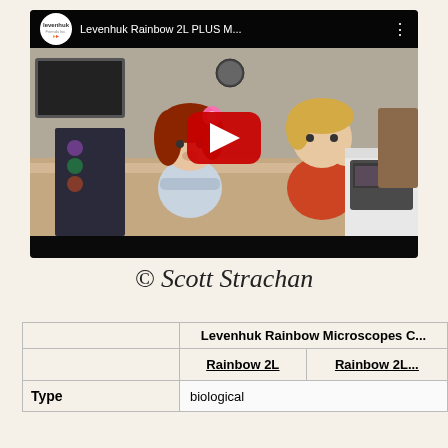[Figure (screenshot): YouTube video thumbnail showing two children (a girl with red hair and pink flower headband, and a blonde boy in a red shirt) at a table with Levenhuk microscope boxes. Video title reads 'Levenhuk Rainbow 2L PLUS M...' with Levenhuk logo and YouTube play button overlay.]
© Scott Strachan
|  | Levenhuk Rainbow Microscopes C... |
| --- | --- |
|  | Rainbow 2L    Rainbow 2L... |
| Type | biological |